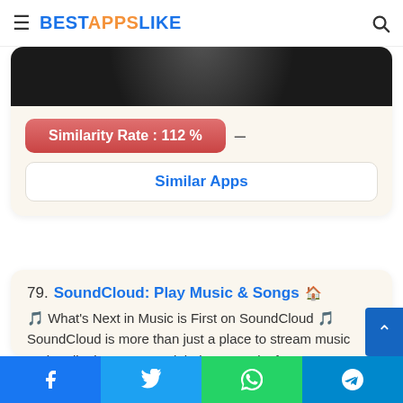BESTAPPSLIKE
[Figure (screenshot): Partial app icon image (dark circular graphic, top of card)]
Similarity Rate : 112 %
Similar Apps
79. SoundCloud: Play Music & Songs
🎵 What's Next in Music is First on SoundCloud 🎵 SoundCloud is more than just a place to stream music and audio, it's an open global community for anyone to upload any audio for instant discovery. Be the first to hear new songs,
Facebook | Twitter | WhatsApp | Telegram